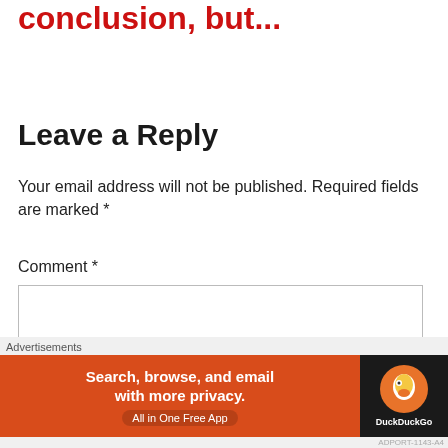conclusion, but...
Leave a Reply
Your email address will not be published. Required fields are marked *
Comment *
[Figure (screenshot): Empty comment text area input box]
[Figure (infographic): DuckDuckGo advertisement banner: 'Search, browse, and email with more privacy. All in One Free App' on orange background with DuckDuckGo logo on dark background]
Advertisements